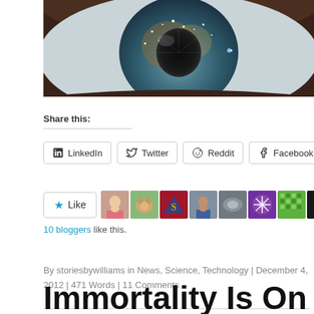[Figure (photo): Close-up photograph of a human eye with galaxy/stars reflection, blue iris with cosmic imagery]
Share this:
LinkedIn  Twitter  Reddit  Facebook
[Figure (infographic): Like button with star icon and 10 avatar thumbnails of bloggers]
10 bloggers like this.
By storiesbywilliams in News, Science, Technology | December 4, 2012 | 471 Words | 11 Comments
Immortality Is On The